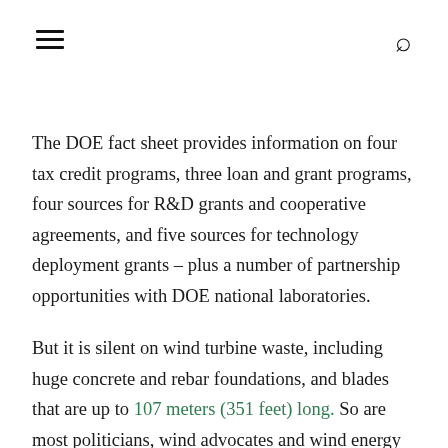☰  🔍
The DOE fact sheet provides information on four tax credit programs, three loan and grant programs, four sources for R&D grants and cooperative agreements, and five sources for technology deployment grants – plus a number of partnership opportunities with DOE national laboratories.
But it is silent on wind turbine waste, including huge concrete and rebar foundations, and blades that are up to 107 meters (351 feet) long. So are most politicians, wind advocates and wind energy publications. In fact, turbine